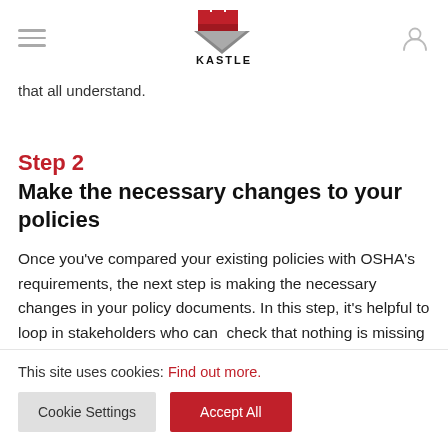[Figure (logo): Kastle logo — red castle/shield graphic above bold text KASTLE]
that all understand.
Step 2
Make the necessary changes to your policies
Once you've compared your existing policies with OSHA's requirements, the next step is making the necessary changes in your policy documents. In this step, it's helpful to loop in stakeholders who can check that nothing is missing so that you're confident your policies are compliant.
This site uses cookies: Find out more.